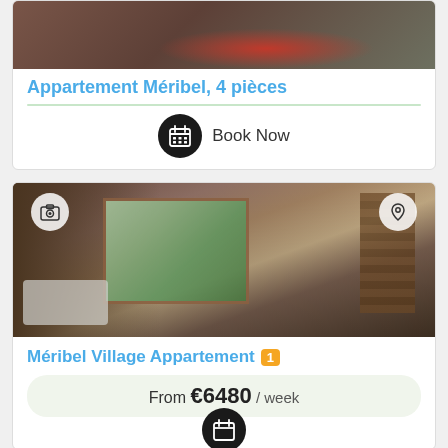[Figure (photo): Top portion of apartment interior photo, partially visible at top of page]
Appartement Méribel, 4 pièces
[Figure (other): Book Now button with calendar icon]
[Figure (photo): Interior photo of Méribel Village apartment showing living room with sofa, sliding glass door to balcony, and staircase. Camera and location icons overlay the image.]
Méribel Village Appartement 1
From €6480 / week